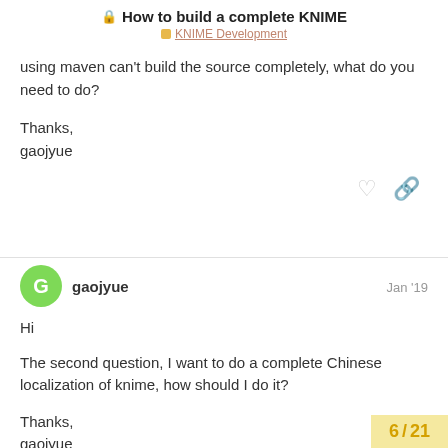🔒 How to build a complete KNIME
■ KNIME Development
using maven can't build the source completely, what do you need to do?

Thanks,
gaojyue
gaojyue  Jan '19

Hi

The second question, I want to do a complete Chinese localization of knime, how should I do it?

Thanks,
gaojyue
6 / 21